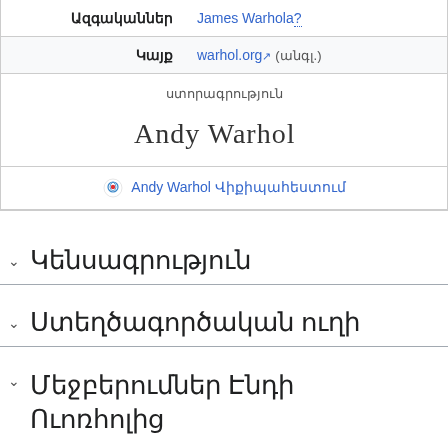| Ազգականներ | James Warhola? |
| Կայք | warhol.org (անգլ.) |
| ստորագրություն | [signature image] |
| Andy Warhol Վիքիպահեստում |  |
Կենսագրություն
Ստեղծագործական ուղի
Մեջբերումներ Էնդի Ուոռհոլից